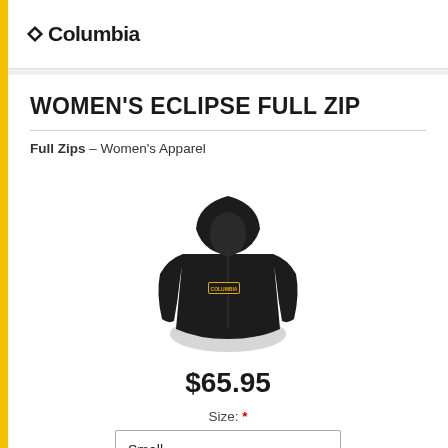Columbia
WOMEN'S ECLIPSE FULL ZIP
Full Zips – Women's Apparel
[Figure (photo): Black women's full-zip hoodie sweatshirt with a small logo patch on the chest, displayed on a white background.]
$65.95
Size: *
Small
ADD TO CART